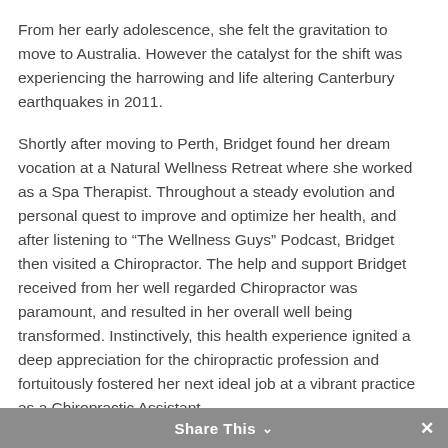From her early adolescence, she felt the gravitation to move to Australia. However the catalyst for the shift was experiencing the harrowing and life altering Canterbury earthquakes in 2011.
Shortly after moving to Perth, Bridget found her dream vocation at a Natural Wellness Retreat where she worked as a Spa Therapist. Throughout a steady evolution and personal quest to improve and optimize her health, and after listening to “The Wellness Guys” Podcast, Bridget then visited a Chiropractor. The help and support Bridget received from her well regarded Chiropractor was paramount, and resulted in her overall well being transformed. Instinctively, this health experience ignited a deep appreciation for the chiropractic profession and fortuitously fostered her next ideal job at a vibrant practice as a Chiropractic Assistant.
Share This